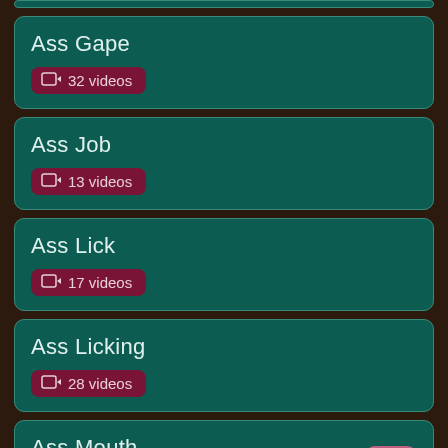Ass Gape — 32 videos
Ass Job — 13 videos
Ass Lick — 17 videos
Ass Licking — 28 videos
Ass Mouth — 25 videos